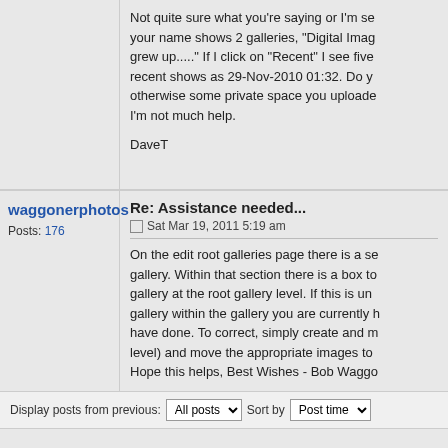Not quite sure what you're saying or I'm se your name shows 2 galleries, "Digital Imag grew up....." If I click on "Recent" I see five recent shows as 29-Nov-2010 01:32. Do y otherwise some private space you uploade I'm not much help.

DaveT
waggonerphotos
Posts: 176
Re: Assistance needed...
Sat Mar 19, 2011 5:19 am
On the edit root galleries page there is a se gallery. Within that section there is a box to gallery at the root gallery level. If this is un gallery within the gallery you are currently h have done. To correct, simply create and m level) and move the appropriate images to Hope this helps, Best Wishes - Bob Waggo
Bob Waggoner
Photographs comprise the communal memory of c
Display posts from previous: All posts Sort by Post time